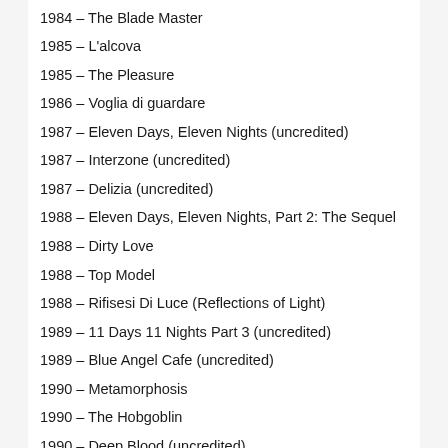1984 – The Blade Master
1985 – L'alcova
1985 – The Pleasure
1986 – Voglia di guardare
1987 – Eleven Days, Eleven Nights (uncredited)
1987 – Interzone (uncredited)
1987 – Delizia (uncredited)
1988 – Eleven Days, Eleven Nights, Part 2: The Sequel
1988 – Dirty Love
1988 – Top Model
1988 – Rifisesi Di Luce (Reflections of Light)
1989 – 11 Days 11 Nights Part 3 (uncredited)
1989 – Blue Angel Cafe (uncredited)
1990 – Metamorphosis
1990 – The Hobgoblin
1990 – Deep Blood (uncredited)
1990 – Any Time, Any Play (uncredited)
1990 – High Finance Woman (uncredited)
1990 – Object of Desire (uncredited)
1990 – La stanza delle parole (uncredited)
1990 – 11 Days, 11 Nights 2 (uncredited)